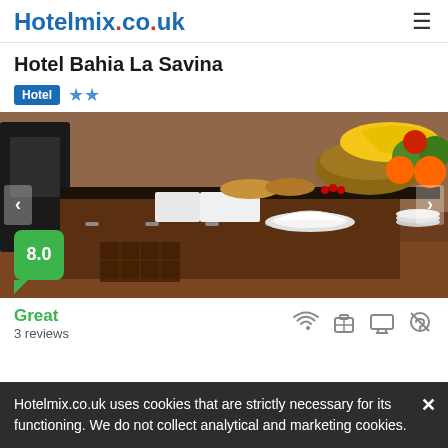Hotelmix.co.uk
Hotel Bahia La Savina
Hotel ★★
[Figure (photo): Buffet breakfast area with breads, fruits (bananas, oranges, apples), a white bowl, and food trays on a dark counter. Score badge showing 8.0 (Great).]
Great
3 reviews
Hotelmix.co.uk uses cookies that are strictly necessary for its functioning. We do not collect analytical and marketing cookies.